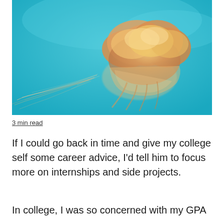[Figure (photo): A golden-orange jellyfish floating against a bright turquoise/cyan blue ocean background. The jellyfish bell faces right with trailing tentacles extending to the left.]
3 min read
If I could go back in time and give my college self some career advice, I'd tell him to focus more on internships and side projects.
In college, I was so concerned with my GPA